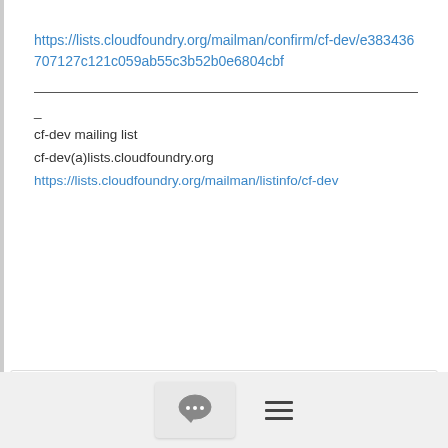https://lists.cloudfoundry.org/mailman/confirm/cf-dev/e383436707127c121c059ab55c3b52b0e6804cbf
_
cf-dev mailing list
cf-dev(a)lists.cloudfoundry.org
https://lists.cloudfoundry.org/mailman/listinfo/cf-dev
[Figure (illustration): Unknown file type icon — blue document with folded corner and white question mark]
[Figure (screenshot): Bottom navigation bar with chat bubble button and hamburger menu icon]